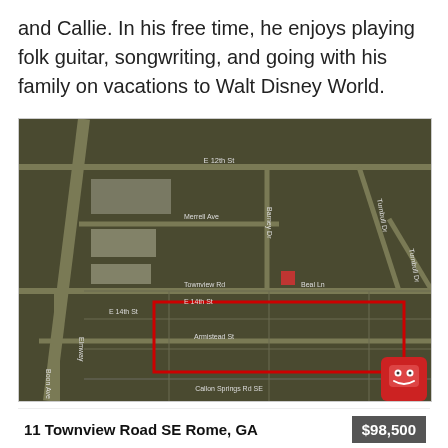and Callie. In his free time, he enjoys playing folk guitar, songwriting, and going with his family on vacations to Walt Disney World.
[Figure (map): Aerial/satellite map showing area around 11 Townview Road SE Rome, GA with a red rectangular outline marking the property parcel. Street labels visible include E 12th St, Merrell Ave, Barney Dr, Turnbull Dr, Townview Rd, Beal Ln, E 14th St, E 14th St, Armistead St, Callon Springs Rd SE. A small red robot emoji icon appears in the bottom right corner of the map.]
11 Townview Road SE Rome, GA   $98,500